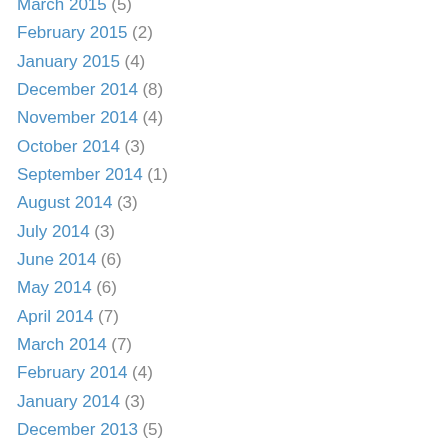March 2015 (5)
February 2015 (2)
January 2015 (4)
December 2014 (8)
November 2014 (4)
October 2014 (3)
September 2014 (1)
August 2014 (3)
July 2014 (3)
June 2014 (6)
May 2014 (6)
April 2014 (7)
March 2014 (7)
February 2014 (4)
January 2014 (3)
December 2013 (5)
November 2013 (8)
October 2013 (2)
September 2013 (4)